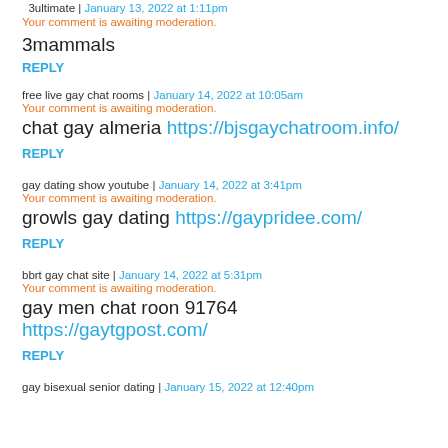3ultimate | January 13, 2022 at 1:11pm
Your comment is awaiting moderation.
3mammals
REPLY
free live gay chat rooms | January 14, 2022 at 10:05am
Your comment is awaiting moderation.
chat gay almeria https://bjsgaychatroom.info/
REPLY
gay dating show youtube | January 14, 2022 at 3:41pm
Your comment is awaiting moderation.
growls gay dating https://gaypridee.com/
REPLY
bbrt gay chat site | January 14, 2022 at 5:31pm
Your comment is awaiting moderation.
gay men chat roon 91764 https://gaytgpost.com/
REPLY
gay bisexual senior dating | January 15, 2022 at 12:40pm